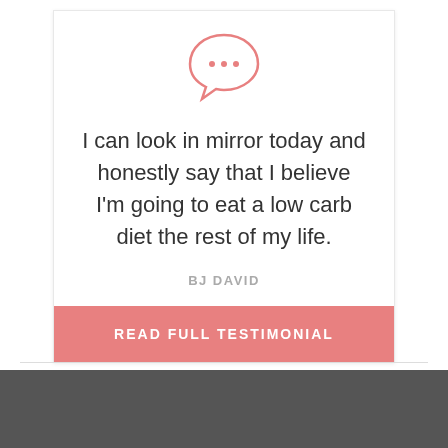[Figure (illustration): Chat bubble icon with three dots, drawn in coral/salmon pink color]
I can look in mirror today and honestly say that I believe I'm going to eat a low carb diet the rest of my life.
BJ DAVID
READ FULL TESTIMONIAL
[Figure (photo): Bottom portion of page showing dark gray background with top of a person's head visible at the bottom center]